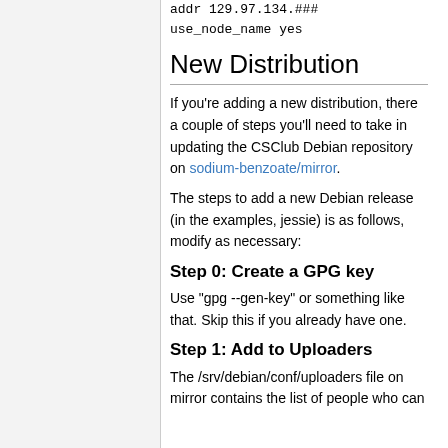addr 129.97.134.###
use_node_name yes
New Distribution
If you're adding a new distribution, there a couple of steps you'll need to take in updating the CSClub Debian repository on sodium-benzoate/mirror.
The steps to add a new Debian release (in the examples, jessie) is as follows, modify as necessary:
Step 0: Create a GPG key
Use "gpg --gen-key" or something like that. Skip this if you already have one.
Step 1: Add to Uploaders
The /srv/debian/conf/uploaders file on mirror contains the list of people who can